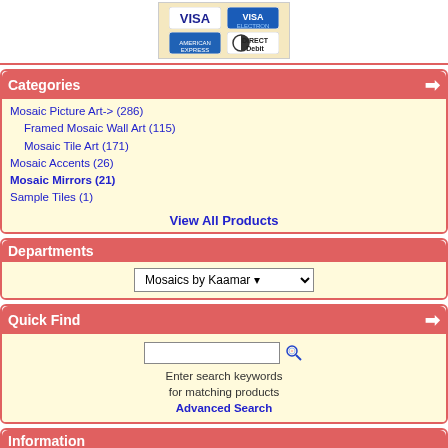[Figure (other): Payment methods: VISA, VISA Electron, American Express, Direct Debit logos in a beige box]
Categories
Mosaic Picture Art-> (286)
Framed Mosaic Wall Art (115)
Mosaic Tile Art (171)
Mosaic Accents (26)
Mosaic Mirrors (21)
Sample Tiles (1)
View All Products
Departments
Mosaics by Kaamar
Quick Find
Enter search keywords for matching products Advanced Search
Information
Delivery & Returns
Privacy & Cookie Policy
Terms & Conditions
Contact us
Send mail to webmaster@kaamar.co.uk with questions or comments about this web site. Copyright © 2010 Kaamar Limited | 6872701 requests since Monday 27 November 2006